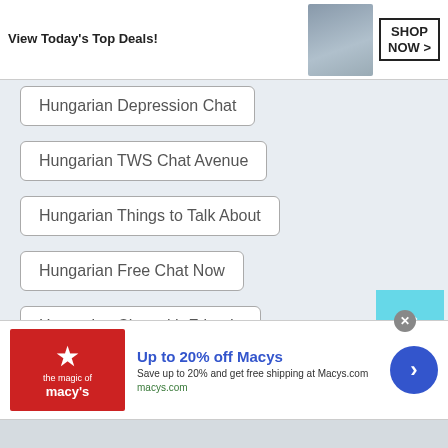[Figure (screenshot): Top advertisement banner with 'View Today's Top Deals!' text, woman in hat, and SHOP NOW button]
Hungarian Depression Chat
Hungarian TWS Chat Avenue
Hungarian Things to Talk About
Hungarian Free Chat Now
Hungarian Chat with Friends
Hungarian Talk to Me
Hungarian Start Chatting
Hungarian Talk to Strangers Online
[Figure (screenshot): Macy's advertisement: Up to 20% off Macy's. Save up to 20% and get free shipping at Macys.com. macys.com]